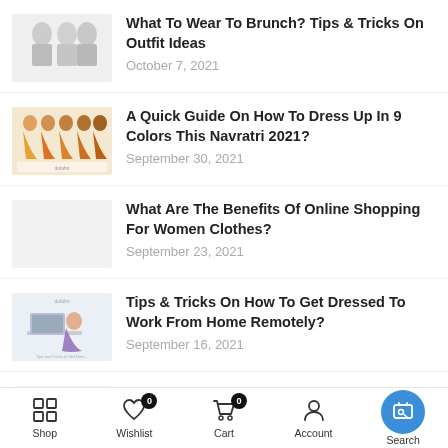What To Wear To Brunch? Tips & Tricks On Outfit Ideas
October 7, 2021
A Quick Guide On How To Dress Up In 9 Colors This Navratri 2021?
September 30, 2021
What Are The Benefits Of Online Shopping For Women Clothes?
September 23, 2021
Tips & Tricks On How To Get Dressed To Work From Home Remotely?
September 16, 2021
Tips and Tricks on How to Clean and Care
Shop  Wishlist 0  Cart 0  Account  Search